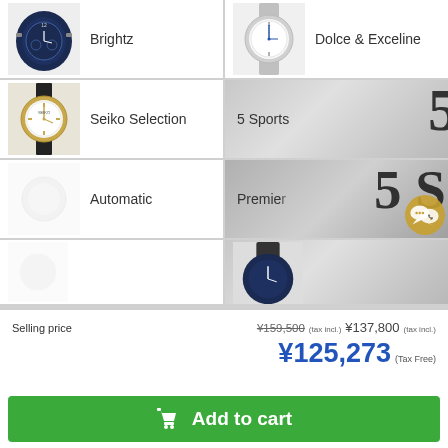[Figure (screenshot): Product grid showing Seiko watch categories: Brightz, Dolce & Exceline, Seiko Selection, 5 Sports, Automatic, Premier, and two partially visible bottom cells]
Selling price
¥159,500 (tax incl.) ¥137,800 (tax incl.)
¥125,273 (Tax Free)
Add to cart